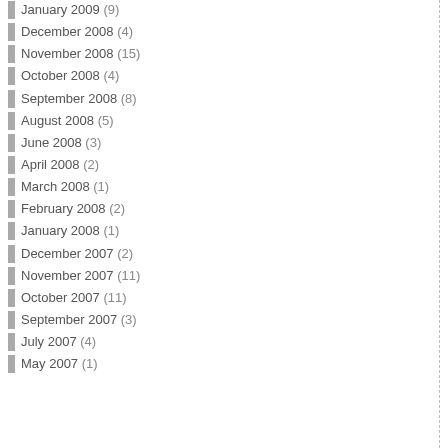January 2009 (9)
December 2008 (4)
November 2008 (15)
October 2008 (4)
September 2008 (8)
August 2008 (5)
June 2008 (3)
April 2008 (2)
March 2008 (1)
February 2008 (2)
January 2008 (1)
December 2007 (2)
November 2007 (11)
October 2007 (11)
September 2007 (3)
July 2007 (4)
May 2007 (1)
e ti m e th ey re ac h 2 5 or 3 0 ye ar s ol d; F e m al es at 1 5 to 1 6